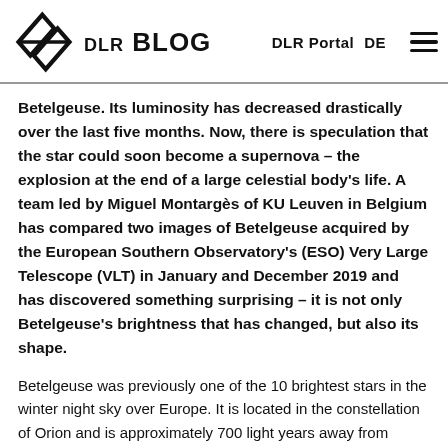DLR BLOG | DLR Portal | DE
Betelgeuse. Its luminosity has decreased drastically over the last five months. Now, there is speculation that the star could soon become a supernova – the explosion at the end of a large celestial body's life. A team led by Miguel Montargès of KU Leuven in Belgium has compared two images of Betelgeuse acquired by the European Southern Observatory's (ESO) Very Large Telescope (VLT) in January and December 2019 and has discovered something surprising – it is not only Betelgeuse's brightness that has changed, but also its shape.
Betelgeuse was previously one of the 10 brightest stars in the winter night sky over Europe. It is located in the constellation of Orion and is approximately 700 light years away from Earth. The star is approximately The star was also...